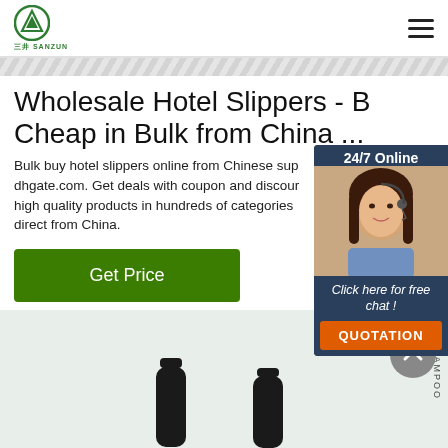三井SANZUN logo and navigation header
Wholesale Hotel Slippers - Buy Cheap in Bulk from China ...
Bulk buy hotel slippers online from Chinese suppliers on dhgate.com. Get deals with coupon and discount high quality products in hundreds of categories direct from China.
Get Price
[Figure (photo): Product photo area showing two dark bottles on a light green background with SHAMPOO text label]
[Figure (photo): Chat widget showing 24/7 Online label, woman with headset, Click here for free chat! text, and QUOTATION button]